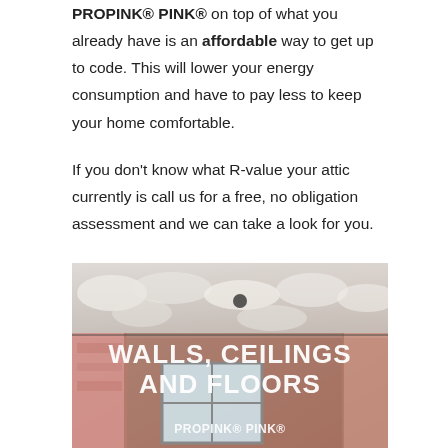PROPINK® PINK® on top of what you already have is an affordable way to get up to code. This will lower your energy consumption and have to pay less to keep your home comfortable.
If you don't know what R-value your attic currently is call us for a free, no obligation assessment and we can take a look for you.
[Figure (photo): Photo of a room interior showing pink insulation on walls and fluffy white insulation on the ceiling/attic. White text overlay reads 'WALLS, CEILINGS AND FLOORS' and bottom text reads 'PROPINK® PINK®'.]